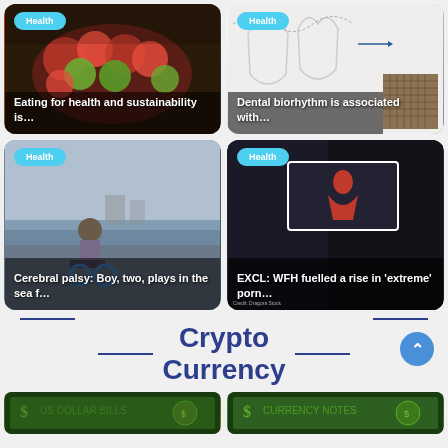[Figure (photo): News card: bowl of mixed fruits including strawberries, kiwi, raspberries on wooden background. Badge: Health. Title: Eating for health and sustainability is...]
[Figure (photo): News card: dental/medical diagram showing tooth cross-sections and anatomy. Badge: Health. Title: Dental biorhythm is associated with...]
[Figure (photo): News card: child in wheelchair at beach/waterfront. Badge: Health. Title: Cerebral palsy: Boy, two, plays in the sea f...]
[Figure (photo): News card: dark image with TV screen showing person in red. Badge: Health. Title: EXCL: WFH fuelled a rise in 'extreme' porn...]
Crypto Currency
[Figure (photo): Bottom strip showing US dollar bills, two panels side by side — start of Crypto Currency section]